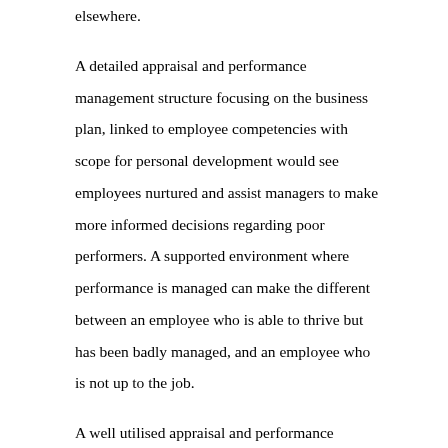elsewhere.
A detailed appraisal and performance management structure focusing on the business plan, linked to employee competencies with scope for personal development would see employees nurtured and assist managers to make more informed decisions regarding poor performers. A supported environment where performance is managed can make the different between an employee who is able to thrive but has been badly managed, and an employee who is not up to the job.
A well utilised appraisal and performance management policy can also provide businesses with not only the framework to run the personal development of their work force, but also a safety net if the worst happens and the business is answering to a tribunal for the dismissal of an employee based on performance. Provided a policy is followed, documented and implemented in a genuine manner, a